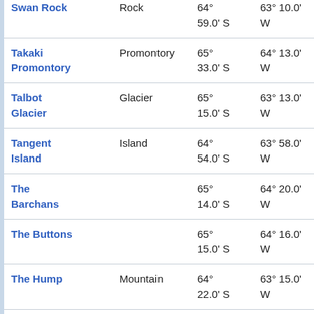| Name | Type | Latitude | Longitude | Value |
| --- | --- | --- | --- | --- |
| Swan Rock | Rock | 64°
59.0' S | 63° 10.0'
W | at 53 |
| Takaki Promontory | Promontory | 65°
33.0' S | 64° 13.0'
W | 42.6
at 19 |
| Talbot Glacier | Glacier | 65°
15.0' S | 63° 13.0'
W | 35.0
at 10 |
| Tangent Island | Island | 64°
54.0' S | 63° 58.0'
W | 31.5
at 35 |
| The Barchans |  | 65°
14.0' S | 64° 20.0'
W | 18.7
at 25 |
| The Buttons |  | 65°
15.0' S | 64° 16.0'
W | 16.5
at 24 |
| The Hump | Mountain | 64°
22.0' S | 63° 15.0'
W | 96.7
at 20 |
| The Minaret |  | 64°
46.0' S | 63° 40.0'
W | 48.2
at 16 |